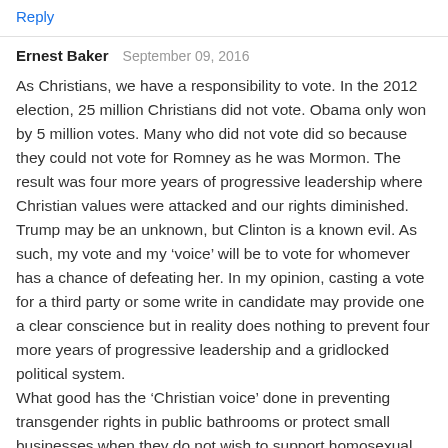Reply
Ernest Baker   September 09, 2016
As Christians, we have a responsibility to vote. In the 2012 election, 25 million Christians did not vote. Obama only won by 5 million votes. Many who did not vote did so because they could not vote for Romney as he was Mormon. The result was four more years of progressive leadership where Christian values were attacked and our rights diminished.
Trump may be an unknown, but Clinton is a known evil. As such, my vote and my ‘voice’ will be to vote for whomever has a chance of defeating her. In my opinion, casting a vote for a third party or some write in candidate may provide one a clear conscience but in reality does nothing to prevent four more years of progressive leadership and a gridlocked political system.
What good has the ‘Christian voice’ done in preventing transgender rights in public bathrooms or protect small businesses when they do not wish to support homosexual themes? Nothing. We must use the systems and structures that are in place today to reduce evil in our world. That is reality.